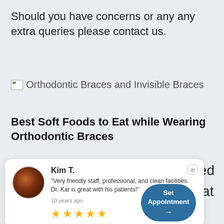Should you have concerns or any any extra queries please contact us.
[Figure (illustration): Broken image icon followed by alt text: Orthodontic Braces and Invisible Braces]
Best Soft Foods to Eat while Wearing Orthodontic Braces
[Figure (screenshot): Review card overlay: Kim T. - 'Very friendly staff, professional, and clean facilities. Dr. Kar is great with his patients!' - 10 years ago - 5 stars - Set Appointment button]
re confronted e groups that ups who've ind themselves oncerned about or of harming